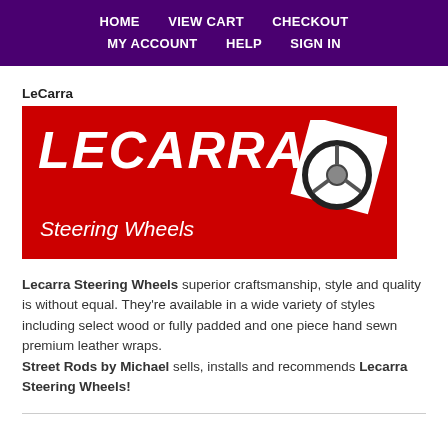HOME   VIEW CART   CHECKOUT   MY ACCOUNT   HELP   SIGN IN
LeCarra
[Figure (logo): LeCarra Steering Wheels logo — red background with large white italic LECARRA text and a steering wheel graphic, with 'Steering Wheels' in italic below]
Lecarra Steering Wheels superior craftsmanship, style and quality is without equal. They're available in a wide variety of styles including select wood or fully padded and one piece hand sewn premium leather wraps. Street Rods by Michael sells, installs and recommends Lecarra Steering Wheels!